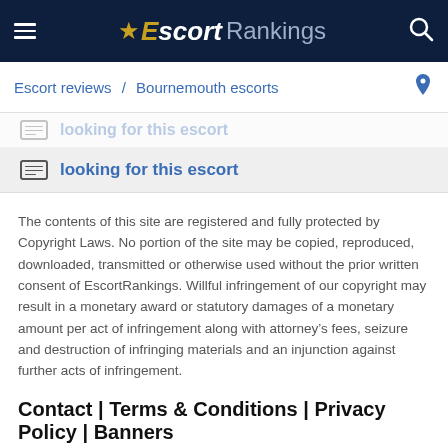Escort Rankings
Escort reviews / Bournemouth escorts
looking for this escort
looking for this escort
The contents of this site are registered and fully protected by Copyright Laws. No portion of the site may be copied, reproduced, downloaded, transmitted or otherwise used without the prior written consent of EscortRankings. Willful infringement of our copyright may result in a monetary award or statutory damages of a monetary amount per act of infringement along with attorney’s fees, seizure and destruction of infringing materials and an injunction against further acts of infringement.
Contact | Terms & Conditions | Privacy Policy | Banners
© Copyright © 2022 EscortRankings. All rights reserved.